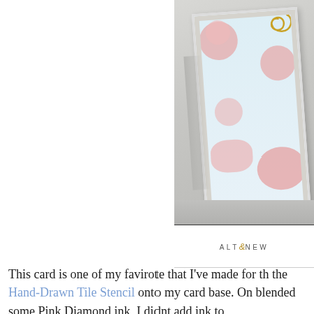[Figure (photo): Close-up photo of a handmade card with pink scroll/swirl stencil pattern on a light blue background, with a gold glitter swirl element, displayed in a white frame, shown at an angle on a gray surface. Altenew logo visible below the image.]
This card is one of my favirote that I've made for th the Hand-Drawn Tile Stencil onto my card base. On blended some Pink Diamond ink, I didnt add ink to